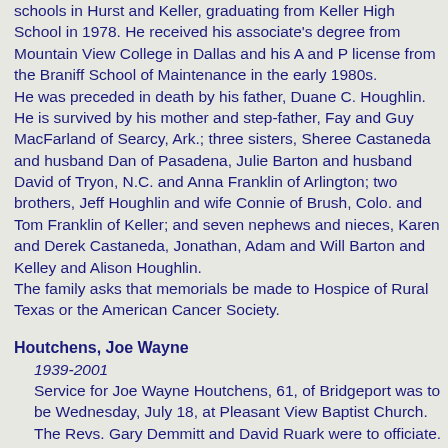schools in Hurst and Keller, graduating from Keller High School in 1978. He received his associate's degree from Mountain View College in Dallas and his A and P license from the Braniff School of Maintenance in the early 1980s. He was preceded in death by his father, Duane C. Houghlin. He is survived by his mother and step-father, Fay and Guy MacFarland of Searcy, Ark.; three sisters, Sheree Castaneda and husband Dan of Pasadena, Julie Barton and husband David of Tryon, N.C. and Anna Franklin of Arlington; two brothers, Jeff Houghlin and wife Connie of Brush, Colo. and Tom Franklin of Keller; and seven nephews and nieces, Karen and Derek Castaneda, Jonathan, Adam and Will Barton and Kelley and Alison Houghlin. The family asks that memorials be made to Hospice of Rural Texas or the American Cancer Society.
Houtchens, Joe Wayne
1939-2001
Service for Joe Wayne Houtchens, 61, of Bridgeport was to be Wednesday, July 18, at Pleasant View Baptist Church. The Revs. Gary Demmitt and David Ruark were to officiate. Burial followed in Thomas Cemetery. Houtchens died Monday, July 16, 2001, in Decatur.